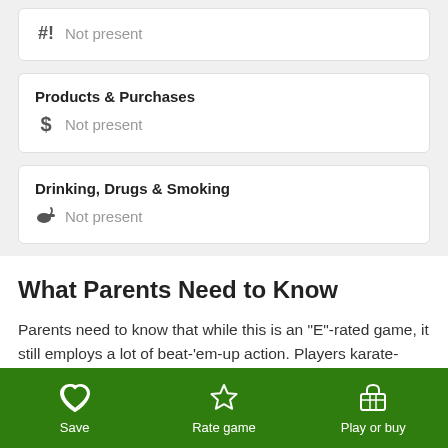#! Not present
Products & Purchases
$ Not present
Drinking, Drugs & Smoking
Not present
What Parents Need to Know
Parents need to know that while this is an "E"-rated game, it still employs a lot of beat-'em-up action. Players karate-chop or punch cute-looking animals, peasants, rats, Merry
Save   Rate game   Play or buy